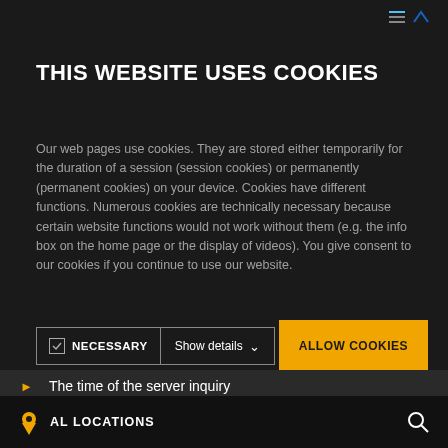THIS WEBSITE USES COOKIES
Our web pages use cookies. They are stored either temporarily for the duration of a session (session cookies) or permanently (permanent cookies) on your device. Cookies have different functions. Numerous cookies are technically necessary because certain website functions would not work without them (e.g. the info box on the home page or the display of videos). You give consent to our cookies if you continue to use our website.
NECESSARY | Show details | ALLOW COOKIES
The time of the server inquiry
The IP address
AL LOCATIONS